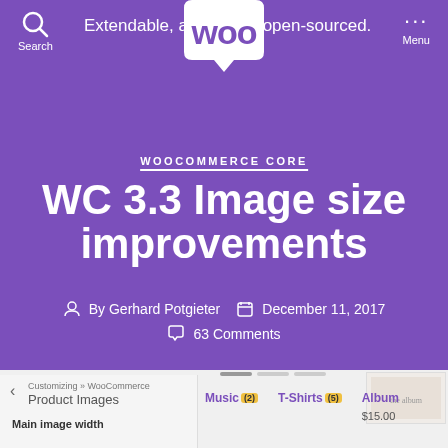[Figure (screenshot): WooCommerce website screenshot showing the header with Woo logo, tagline, navigation, article hero section with purple background, and partial bottom UI showing customizer and product category cards.]
Search | Extendable, adaptable, open-sourced. | Menu
WOOCOMMERCE CORE
WC 3.3 Image size improvements
By Gerhard Potgieter   December 11, 2017
63 Comments
Customizing » WooCommerce
Product Images
Main image width
Music (2)   T-Shirts (5)   Album $15.00